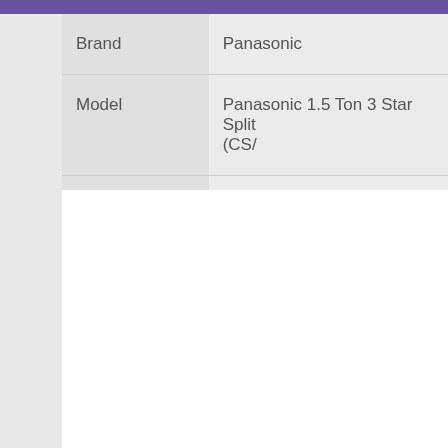|  |  |
| --- | --- |
| Brand | Panasonic |
| Model | Panasonic 1.5 Ton 3 Star Split (CS/ |
| Price In Pakistan | 64,000/- |